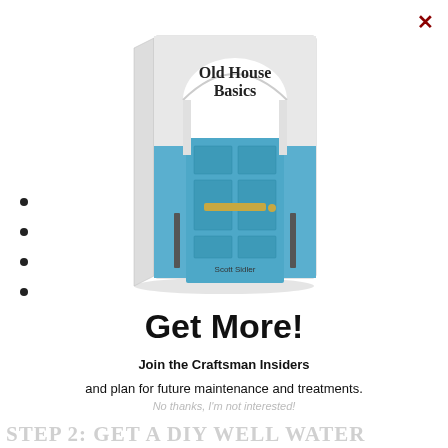[Figure (illustration): Book cover of 'Old House Basics' by Scott Sidler, showing a blue door on a white facade with an arched entrance]
•
•
•
•
Get More!
Join the Craftsman Insiders
and plan for future maintenance and treatments.
No thanks, I'm not interested!
Step 2: Get a DIY Well Water